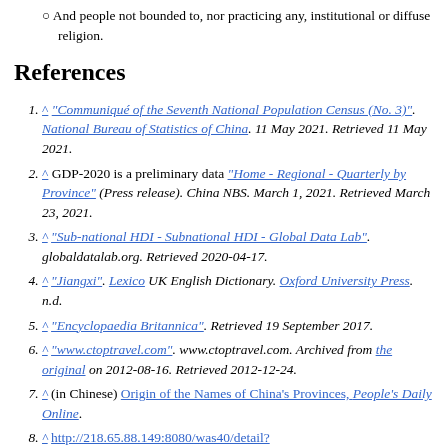And people not bounded to, nor practicing any, institutional or diffuse religion.
References
1. ^ "Communiqué of the Seventh National Population Census (No. 3)". National Bureau of Statistics of China. 11 May 2021. Retrieved 11 May 2021.
2. ^ GDP-2020 is a preliminary data "Home - Regional - Quarterly by Province" (Press release). China NBS. March 1, 2021. Retrieved March 23, 2021.
3. ^ "Sub-national HDI - Subnational HDI - Global Data Lab". globaldatalab.org. Retrieved 2020-04-17.
4. ^ "Jiangxi". Lexico UK English Dictionary. Oxford University Press. n.d.
5. ^ "Encyclopaedia Britannica". Retrieved 19 September 2017.
6. ^ "www.ctoptravel.com". www.ctoptravel.com. Archived from the original on 2012-08-16. Retrieved 2012-12-24.
7. ^ (in Chinese) Origin of the Names of China's Provinces, People's Daily Online.
8. ^ http://218.65.88.149:8080/was40/detail?record=1&primarykeyvalue=%E9%A2%98%E5%90%8D%3I
9. ^ PBS Perilous Flight
10. ^ "b.n.ching.com.cn". China.com.cn. 2008-11-26.